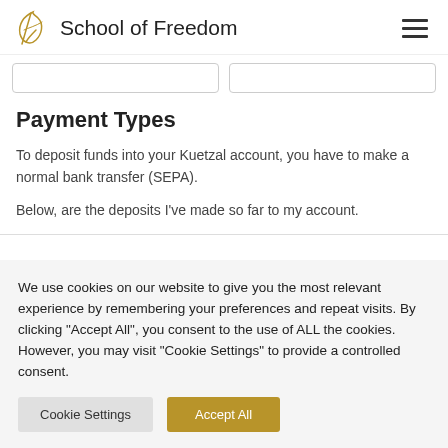School of Freedom
Payment Types
To deposit funds into your Kuetzal account, you have to make a normal bank transfer (SEPA).
Below, are the deposits I've made so far to my account.
We use cookies on our website to give you the most relevant experience by remembering your preferences and repeat visits. By clicking "Accept All", you consent to the use of ALL the cookies. However, you may visit "Cookie Settings" to provide a controlled consent.